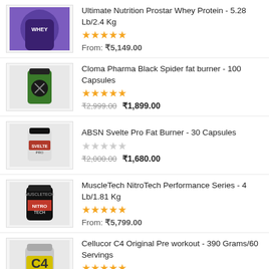Ultimate Nutrition Prostar Whey Protein - 5.28 Lb/2.4 Kg, Rating: 4.5 stars, From: ₹5,149.00
Cloma Pharma Black Spider fat burner - 100 Capsules, Rating: 4.5 stars, ₹2,999.00 ₹1,899.00
ABSN Svelte Pro Fat Burner - 30 Capsules, Rating: 0 stars, ₹2,000.00 ₹1,680.00
MuscleTech NitroTech Performance Series - 4 Lb/1.81 Kg, Rating: 4.5 stars, From: ₹5,799.00
Cellucor C4 Original Pre workout - 390 Grams/60 Servings, Rating: 4.5 stars, From: ₹3,699.00